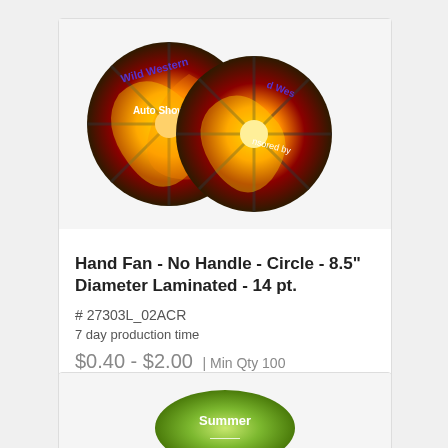[Figure (photo): Two circular hand fans with Wild Western Auto Show flame design]
Hand Fan - No Handle - Circle - 8.5" Diameter Laminated - 14 pt.
# 27303L_02ACR
7 day production time
$0.40 - $2.00 | Min Qty 100
Add to Cart
[Figure (photo): Partial view of second product with green summer themed design]